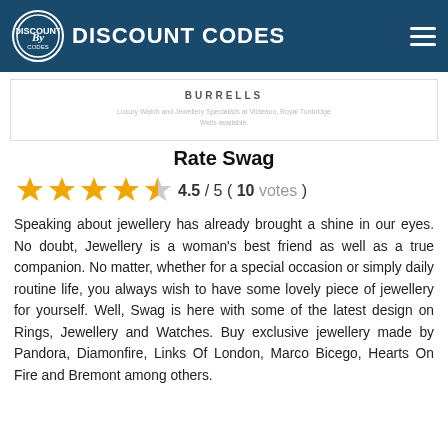DISCOUNT CODES
[Figure (logo): Burrells store card with name and description: Luxury Watch and Jewellery Specialists at Victeaux, Royal Tunbridge Wells available.]
Rate Swag
[Figure (other): Star rating: 4.5 out of 5 stars, 10 votes]
Speaking about jewellery has already brought a shine in our eyes. No doubt, Jewellery is a woman's best friend as well as a true companion. No matter, whether for a special occasion or simply daily routine life, you always wish to have some lovely piece of jewellery for yourself. Well, Swag is here with some of the latest design on Rings, Jewellery and Watches. Buy exclusive jewellery made by Pandora, Diamonfire, Links Of London, Marco Bicego, Hearts On Fire and Bremont among others.